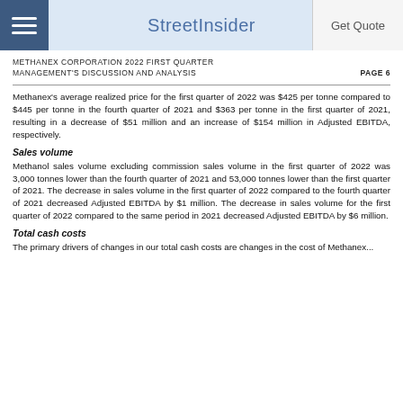StreetInsider | Get Quote
METHANEX CORPORATION 2022 FIRST QUARTER
MANAGEMENT'S DISCUSSION AND ANALYSIS
PAGE 6
Methanex’s average realized price for the first quarter of 2022 was $425 per tonne compared to $445 per tonne in the fourth quarter of 2021 and $363 per tonne in the first quarter of 2021, resulting in a decrease of $51 million and an increase of $154 million in Adjusted EBITDA, respectively.
Sales volume
Methanol sales volume excluding commission sales volume in the first quarter of 2022 was 3,000 tonnes lower than the fourth quarter of 2021 and 53,000 tonnes lower than the first quarter of 2021. The decrease in sales volume in the first quarter of 2022 compared to the fourth quarter of 2021 decreased Adjusted EBITDA by $1 million. The decrease in sales volume for the first quarter of 2022 compared to the same period in 2021 decreased Adjusted EBITDA by $6 million.
Total cash costs
The primary drivers of changes in our total cash costs are changes in the cost of Methanex...